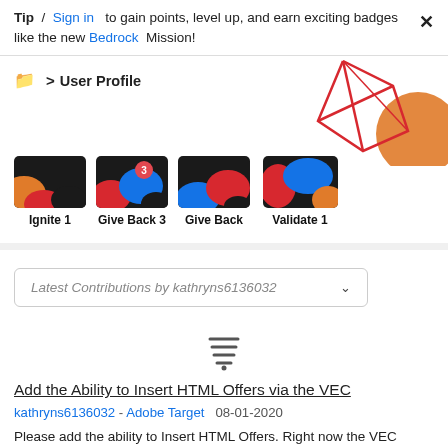Tip / Sign in to gain points, level up, and earn exciting badges like the new Bedrock Mission!
[Figure (screenshot): User Profile breadcrumb with decorative geometric graphic on the right side (red diamond shapes and orange circle)]
[Figure (infographic): Four badge thumbnails: Ignite 1, Give Back 3, Give Back, Validate 1]
Latest Contributions by kathryns6136032 (dropdown)
[Figure (illustration): Stack overflow / loading icon]
Add the Ability to Insert HTML Offers via the VEC
kathryns6136032 - Adobe Target 08-01-2020
Please add the ability to Insert HTML Offers. Right now the VEC allows Text, HTML, Experience Fragments and